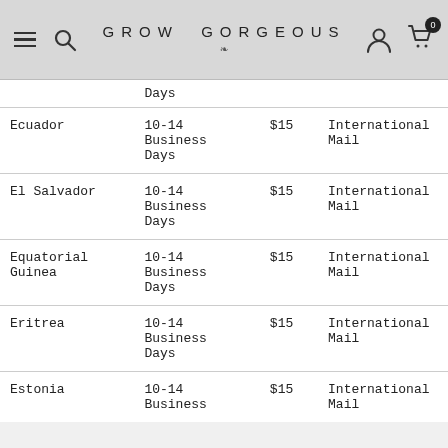GROW GORGEOUS
| Country | Delivery Time | Price | Method |
| --- | --- | --- | --- |
|  | Days |  |  |
| Ecuador | 10-14 Business Days | $15 | International Mail |
| El Salvador | 10-14 Business Days | $15 | International Mail |
| Equatorial Guinea | 10-14 Business Days | $15 | International Mail |
| Eritrea | 10-14 Business Days | $15 | International Mail |
| Estonia | 10-14 Business Days | $15 | International Mail |